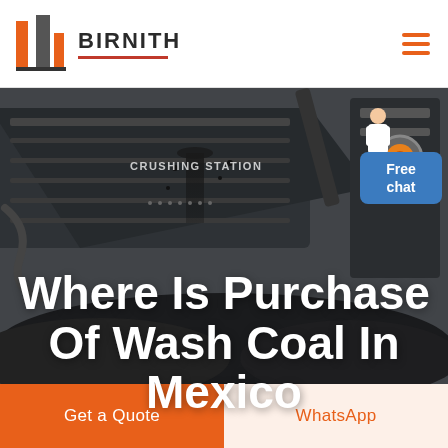[Figure (logo): Birnith company logo with orange and grey building/column icon and red underline beneath brand name]
BIRNITH
[Figure (photo): Industrial coal crushing station machinery with conveyor belt and coal pile, dark industrial setting]
Where Is Purchase Of Wash Coal In Mexico
Free chat
Get a Quote
WhatsApp